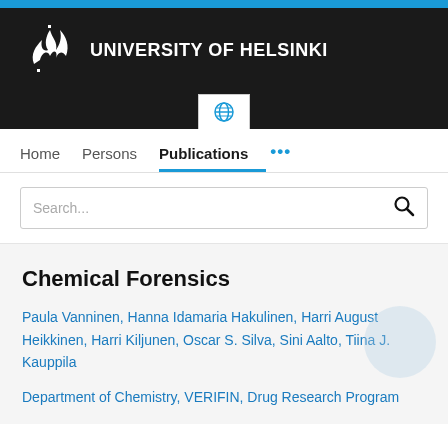[Figure (logo): University of Helsinki logo and header banner with white flame/crown logo on dark background, blue top stripe, and UNIVERSITY OF HELSINKI text in white]
Home   Persons   Publications   ...
Search...
Chemical Forensics
Paula Vanninen, Hanna Idamaria Hakulinen, Harri August Heikkinen, Harri Kiljunen, Oscar S. Silva, Sini Aalto, Tiina J. Kauppila
Department of Chemistry, VERIFIN, Drug Research Program